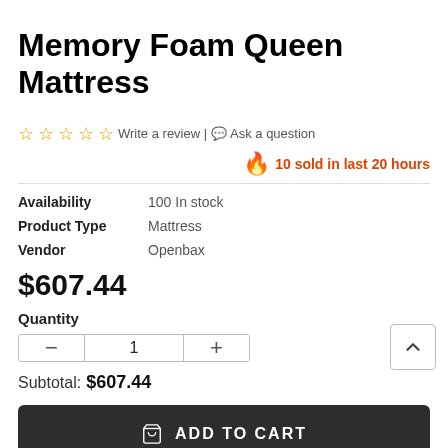Memory Foam Queen Mattress
☆☆☆☆☆ Write a review | Ask a question
🔥 10 sold in last 20 hours
| Field | Value |
| --- | --- |
| Availability | 100 In stock |
| Product Type | Mattress |
| Vendor | Openbax |
$607.44
Quantity
Subtotal: $607.44
ADD TO CART